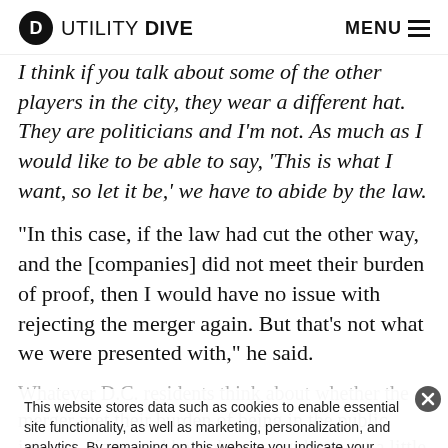UTILITY DIVE  MENU
I think if you talk about some of the other players in the city, they wear a different hat. They are politicians and I’m not. As much as I would like to be able to say, ‘This is what I want, so let it be,’ we have to abide by the law.
“In this case, if the law had cut the other way, and the [companies] did not meet their burden of proof, then I would have no issue with rejecting the merger again. But that’s not what we were presented with,” he said.
Whatever D.C. residents think about whether the merger met their burden of being in the public interest, Kane said her job as a regulator got a little bit more difficult last week.
This website stores data such as cookies to enable essential site functionality, as well as marketing, personalization, and analytics. By remaining on this website you indicate your consent. Privacy Policy